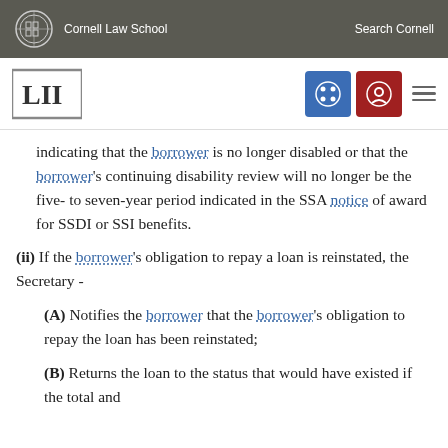Cornell Law School | Search Cornell
[Figure (logo): LII Legal Information Institute logo with Cornell seal and navigation icons]
indicating that the borrower is no longer disabled or that the borrower's continuing disability review will no longer be the five- to seven-year period indicated in the SSA notice of award for SSDI or SSI benefits.
(ii) If the borrower's obligation to repay a loan is reinstated, the Secretary -
(A) Notifies the borrower that the borrower's obligation to repay the loan has been reinstated;
(B) Returns the loan to the status that would have existed if the total and